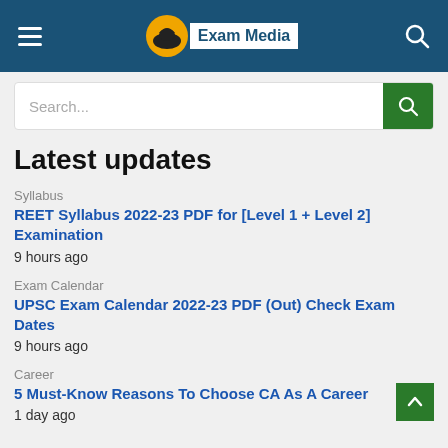Exam Media
Search...
Latest updates
Syllabus
REET Syllabus 2022-23 PDF for [Level 1 + Level 2] Examination
9 hours ago
Exam Calendar
UPSC Exam Calendar 2022-23 PDF (Out) Check Exam Dates
9 hours ago
Career
5 Must-Know Reasons To Choose CA As A Career
1 day ago